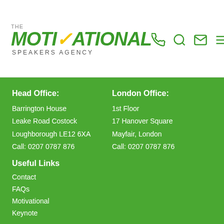[Figure (logo): The Motivational Speakers Agency logo with green bold italic text and yellow checkmark on the V]
[Figure (other): Navigation icons: phone, search, email, hamburger menu]
Head Office:
Barrington House
Leake Road Costock
Loughborough LE12 6XA
Call: 0207 0787 876
London Office:
1st Floor
17 Hanover Square
Mayfair, London
Call: 0207 0787 876
Useful Links
Contact
FAQs
Motivational
Keynote